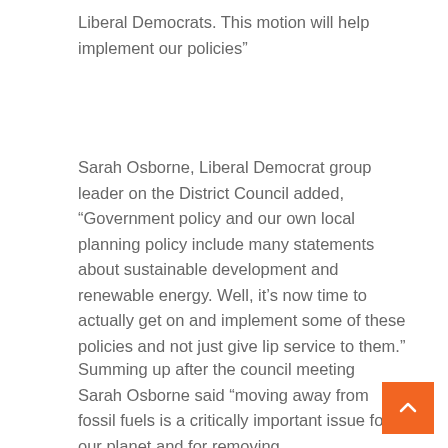Liberal Democrats. This motion will help implement our policies”
Sarah Osborne, Liberal Democrat group leader on the District Council added, “Government policy and our own local planning policy include many statements about sustainable development and renewable energy. Well, it’s now time to actually get on and implement some of these policies and not just give lip service to them.”
Summing up after the council meeting Sarah Osborne said “moving away from fossil fuels is a critically important issue for our planet and for removing